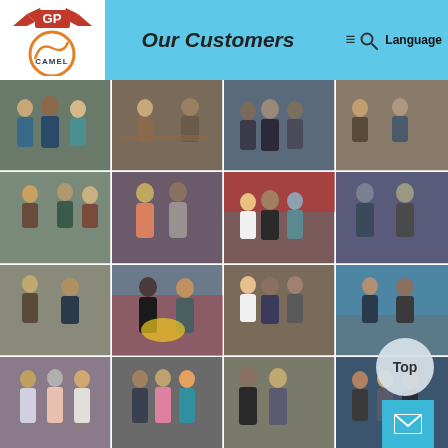Our Customers
[Figure (photo): Company website screenshot showing 'Our Customers' page with a grid of 16 customer meeting photos, Camel brand logo, navigation icons, and a 'Top' scroll button.]